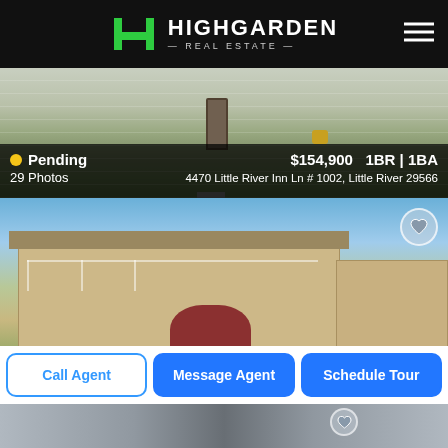HIGHGARDEN REAL ESTATE
[Figure (photo): Exterior photo of a townhouse/condo with beige siding, front door, and green lawn. Status: Pending. Price: $154,900, 1BR | 1BA]
Pending  $154,900  1BR | 1BA
29 Photos   4470 Little River Inn Ln # 1002, Little River 29566
[Figure (photo): Exterior photo of a multi-story apartment/condo building with balconies, beige siding, arched red awning at entrance, and manicured lawn. Status: Pending. Price: $155,000, 1BR | 1BA]
Pending  $155,000  1BR | 1BA
36 Photos   4343 Pinehurst Blvd # S-4, Little River 29566
Call Agent   Message Agent   Schedule Tour